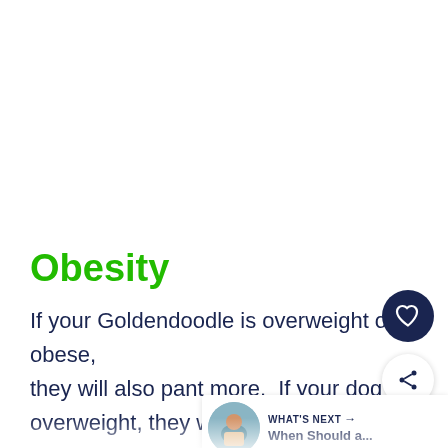Obesity
If your Goldendoodle is overweight or obese, they will also pant more.  If your dog is overweight, they will have extra laye rs that act as a layer of insulation and will keep them warm.  During the summer months, you may notice that overweight dogs will pant more.